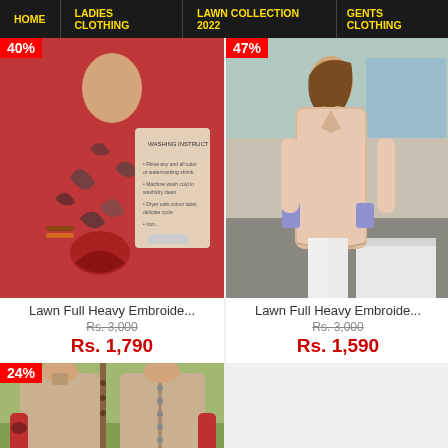HOME | LADIES CLOTHING | LAWN COLLECTION 2022 | GENTS CLOTHING
[Figure (photo): Red lawn embroidered kurti with floral embroidery, 40% discount badge]
Lawn Full Heavy Embroide...
Rs. 3,000
Rs. 1,790
[Figure (photo): Pink/beige lawn embroidered kurti, 47% discount badge]
Lawn Full Heavy Embroide...
Rs. 3,000
Rs. 1,590
[Figure (photo): Beige lawn kurti with floral sleeve detail, 24% discount badge]